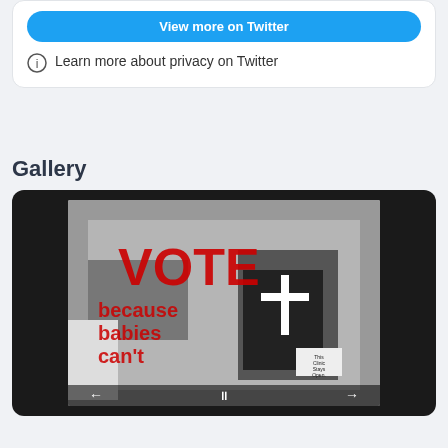[Figure (screenshot): Twitter embed card with a blue 'View more on Twitter' button and a privacy notice with an info icon saying 'Learn more about privacy on Twitter']
Learn more about privacy on Twitter
Gallery
[Figure (photo): Gallery image showing a black and white photo of a building exterior with red text overlay reading 'VOTE because babies can't' and a sign reading 'This Clinic Stays Open.' Navigation arrows and a pause button are visible at the bottom.]